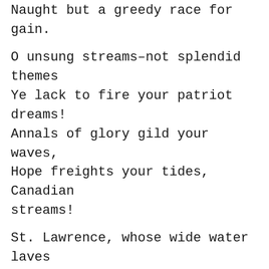Naught but a greedy race for gain.
O unsung streams–not splendid themes
Ye lack to fire your patriot dreams!
Annals of glory gild your waves,
Hope freights your tides, Canadian streams!
St. Lawrence, whose wide water laves
The shores that ne'er have nourished slaves!
Swift Richelieu of lilied fame!
Niagara of glorious graves!
He lived for a number of years in
England, France and Germany and even